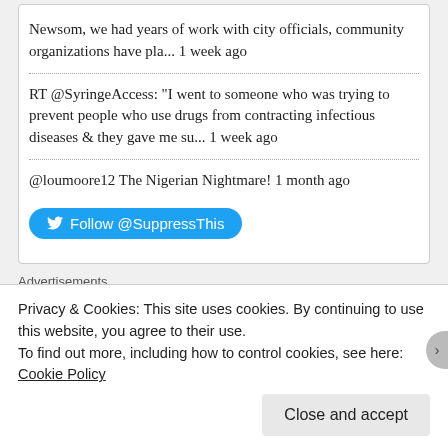Newsom, we had years of work with city officials, community organizations have pla... 1 week ago
RT @SyringeAccess: "I went to someone who was trying to prevent people who use drugs from contracting infectious diseases & they gave me su... 1 week ago
@loumoore12 The Nigerian Nightmare! 1 month ago
Follow @SuppressThis
Advertisements
[Figure (other): Empty advertisement box with black border]
Privacy & Cookies: This site uses cookies. By continuing to use this website, you agree to their use.
To find out more, including how to control cookies, see here: Cookie Policy
Close and accept